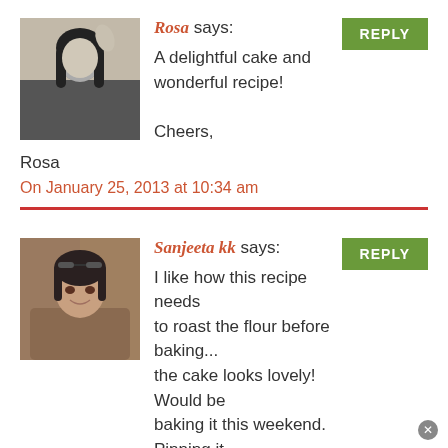[Figure (photo): Black and white photo of Rosa, a woman with dark hair]
Rosa says:
REPLY
A delightful cake and wonderful recipe!

Cheers,

Rosa
On January 25, 2013 at 10:34 am
[Figure (photo): Color photo of Sanjeeta kk, a woman with dark hair and sunglasses on head]
Sanjeeta kk says:
REPLY
I like how this recipe needs to roast the flour before baking... the cake looks lovely! Would be baking it this weekend. Pinning it right away.
On January 25, 2013 at 10:50 am